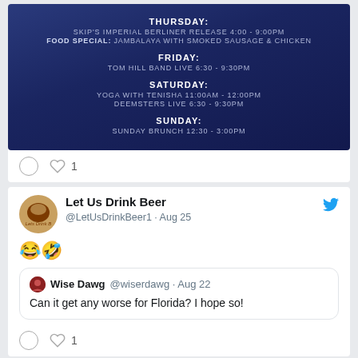[Figure (infographic): Dark blue event schedule banner showing Thursday through Sunday events at what appears to be a brewery/bar]
THURSDAY: SKIP'S IMPERIAL BERLINER RELEASE 4:00 - 9:00PM
FOOD SPECIAL: JAMBALAYA WITH SMOKED SAUSAGE & CHICKEN
FRIDAY: TOM HILL BAND LIVE 6:30 - 9:30PM
SATURDAY: YOGA WITH TENISHA 11:00AM - 12:00PM
DEEMSTERS LIVE 6:30 - 9:30PM
SUNDAY: SUNDAY BRUNCH 12:30 - 3:00PM
♡ 1
Let Us Drink Beer @LetUsDrinkBeer1 · Aug 25
😂🤣
Wise Dawg @wiserdawg · Aug 22
Can it get any worse for Florida? I hope so!
♡ 1